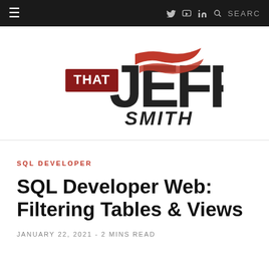≡   🐦  ▶  in  🔍 SEARCH
[Figure (logo): That Jeff Smith logo — large stylized 'JEFF' letters in dark charcoal with red swoosh/wings graphic, 'THAT' in white text on a dark red rectangle, 'SMITH' in bold italic below]
SQL DEVELOPER
SQL Developer Web: Filtering Tables & Views
JANUARY 22, 2021 - 2 MINS READ